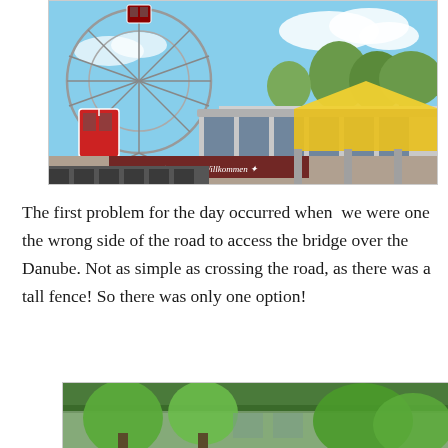[Figure (photo): A Ferris wheel (Wiener Riesenrad) with red gondolas visible, along with a modern circular building with yellow tent/awning in the foreground. A banner reads 'Herzlich Willkommen'. Blue sky with clouds and trees in background.]
The first problem for the day occurred when we were one the wrong side of the road to access the bridge over the Danube. Not as simple as crossing the road, as there was a tall fence! So there was only one option!
[Figure (photo): Partial view of trees and a green-roofed building, likely the bottom portion of the page showing an outdoor scene.]